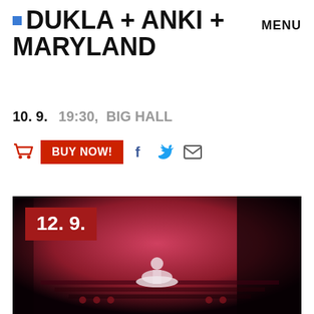■ DUKLA + ANKI + MARYLAND
MENU
10. 9.  19:30,  BIG HALL
BUY NOW!
[Figure (photo): Ballet dancer in white tutu on stage with red lighting, holding flowers, date badge '12. 9.' overlaid top left]